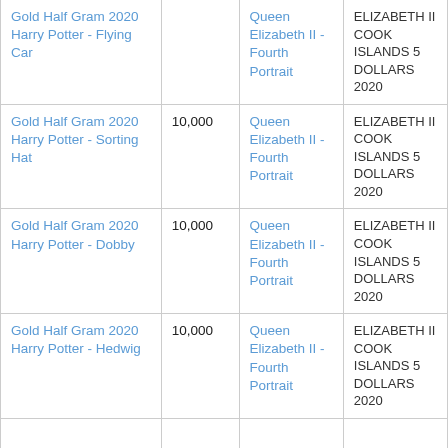| Gold Half Gram 2020 Harry Potter - Flying Car |  | Queen Elizabeth II - Fourth Portrait | ELIZABETH II COOK ISLANDS 5 DOLLARS 2020 |
| Gold Half Gram 2020 Harry Potter - Sorting Hat | 10,000 | Queen Elizabeth II - Fourth Portrait | ELIZABETH II COOK ISLANDS 5 DOLLARS 2020 |
| Gold Half Gram 2020 Harry Potter - Dobby | 10,000 | Queen Elizabeth II - Fourth Portrait | ELIZABETH II COOK ISLANDS 5 DOLLARS 2020 |
| Gold Half Gram 2020 Harry Potter - Hedwig | 10,000 | Queen Elizabeth II - Fourth Portrait | ELIZABETH II COOK ISLANDS 5 DOLLARS 2020 |